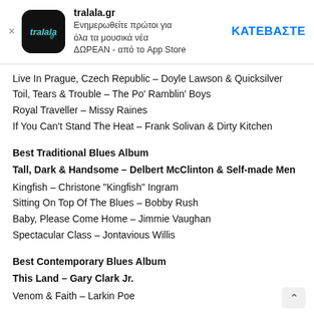[Figure (screenshot): App banner for tralala.gr with app icon, description in Greek, and a download button (ΚΑΤΕΒΑΣΤΕ)]
Live In Prague, Czech Republic – Doyle Lawson & Quicksilver
Toil, Tears & Trouble – The Po' Ramblin' Boys
Royal Traveller – Missy Raines
If You Can't Stand The Heat – Frank Solivan & Dirty Kitchen
Best Traditional Blues Album
Tall, Dark & Handsome – Delbert McClinton & Self-made Men
Kingfish – Christone "Kingfish" Ingram
Sitting On Top Of The Blues – Bobby Rush
Baby, Please Come Home – Jimmie Vaughan
Spectacular Class – Jontavious Willis
Best Contemporary Blues Album
This Land – Gary Clark Jr.
Venom & Faith – Larkin Poe